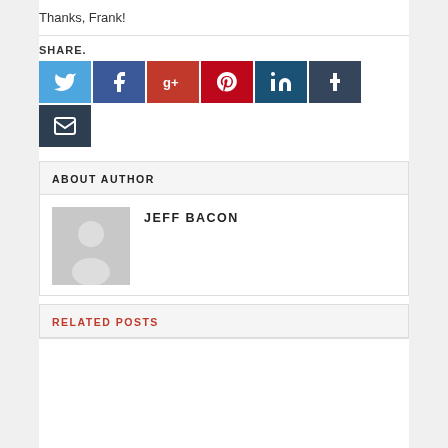Thanks, Frank!
SHARE.
[Figure (infographic): Social share buttons: Twitter (light blue), Facebook (dark blue), Google+ (dark red), Pinterest (red), LinkedIn (dark navy), Tumblr (dark slate), Email (dark)]
ABOUT AUTHOR
[Figure (illustration): Generic avatar silhouette on grey background]
JEFF BACON
RELATED POSTS